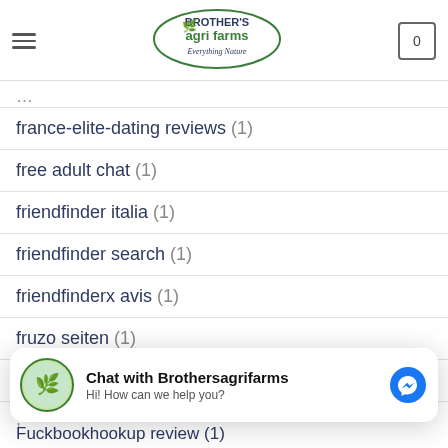BROTHER'S agri farms - Everything Nature
france-elite-dating reviews (1)
free adult chat (1)
friendfinder italia (1)
friendfinder search (1)
friendfinderx avis (1)
fruzo seiten (1)
fuck marry kill mobile (1)
[Figure (other): Chat widget: Chat with Brothersagrifarms - Hi! How can we help you? with Messenger icon]
Fuckbookhookup review (1)